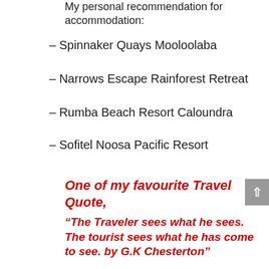My personal recommendation for accommodation:
– Spinnaker Quays Mooloolaba
– Narrows Escape Rainforest Retreat
– Rumba Beach Resort Caloundra
– Sofitel Noosa Pacific Resort
One of my favourite Travel Quote,
“The Traveler sees what he sees. The tourist sees what he has come to see. by G.K Chesterton”